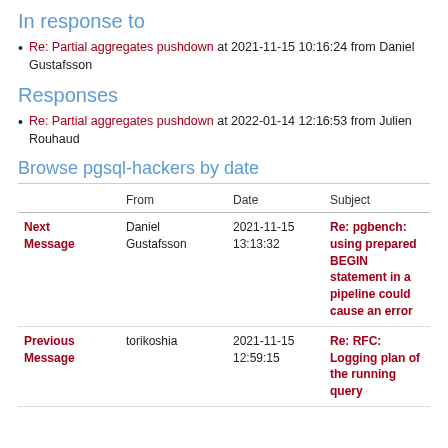In response to
Re: Partial aggregates pushdown at 2021-11-15 10:16:24 from Daniel Gustafsson
Responses
Re: Partial aggregates pushdown at 2022-01-14 12:16:53 from Julien Rouhaud
Browse pgsql-hackers by date
|  | From | Date | Subject |
| --- | --- | --- | --- |
| Next Message | Daniel Gustafsson | 2021-11-15 13:13:32 | Re: pgbench: using prepared BEGIN statement in a pipeline could cause an error |
| Previous Message | torikoshia | 2021-11-15 12:59:15 | Re: RFC: Logging plan of the running query |